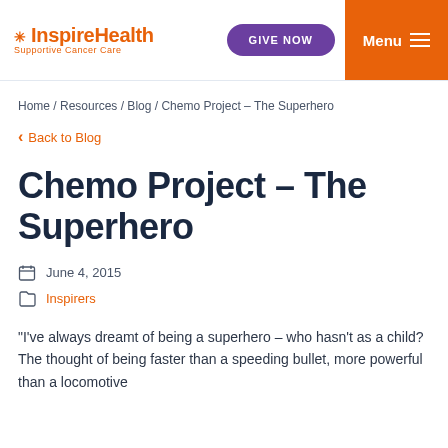InspireHealth Supportive Cancer Care | GIVE NOW | Menu
Home / Resources / Blog / Chemo Project – The Superhero
Back to Blog
Chemo Project – The Superhero
June 4, 2015
Inspirers
“I’ve always dreamt of being a superhero – who hasn’t as a child?  The thought of being faster than a speeding bullet, more powerful than a locomotive